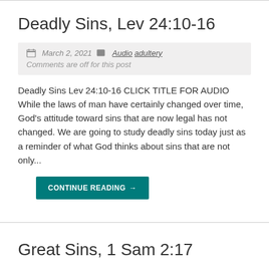Deadly Sins, Lev 24:10-16
March 2, 2021   Audio adultery
Comments are off for this post
Deadly Sins Lev 24:10-16 CLICK TITLE FOR AUDIO While the laws of man have certainly changed over time, God's attitude toward sins that are now legal has not changed. We are going to study deadly sins today just as a reminder of what God thinks about sins that are not only...
CONTINUE READING→
Great Sins, 1 Sam 2:17